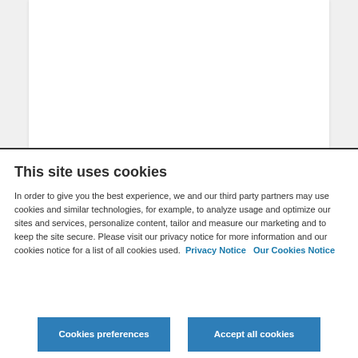This site uses cookies
In order to give you the best experience, we and our third party partners may use cookies and similar technologies, for example, to analyze usage and optimize our sites and services, personalize content, tailor and measure our marketing and to keep the site secure. Please visit our privacy notice for more information and our cookies notice for a list of all cookies used.  Privacy Notice  Our Cookies Notice
Cookies preferences
Accept all cookies